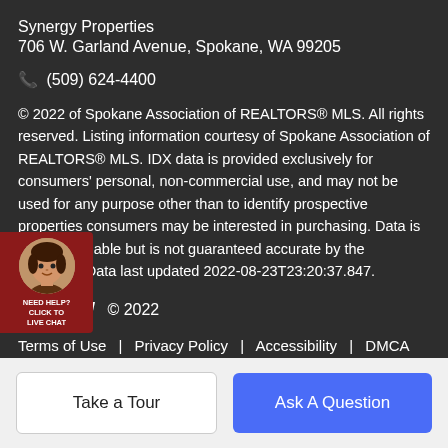Synergy Properties
706 W. Garland Avenue, Spokane, WA 99205
📞 (509) 624-4400
© 2022 of Spokane Association of REALTORS® MLS. All rights reserved. Listing information courtesy of Spokane Association of REALTORS® MLS. IDX data is provided exclusively for consumers' personal, non-commercial use, and may not be used for any purpose other than to identify prospective properties consumers may be interested in purchasing. Data is deemed reliable but is not guaranteed accurate by the SARMLS. Data last updated 2022-08-23T23:20:37.847.
[Figure (photo): Live chat widget with agent photo and 'NEED HELP? CLICK TO LIVE CHAT' label on a dark red background]
nTown!  © 2022
Terms of Use  |  Privacy Policy  |  Accessibility  |  DMCA  |  Listings Sitemap
Take a Tour
Ask A Question